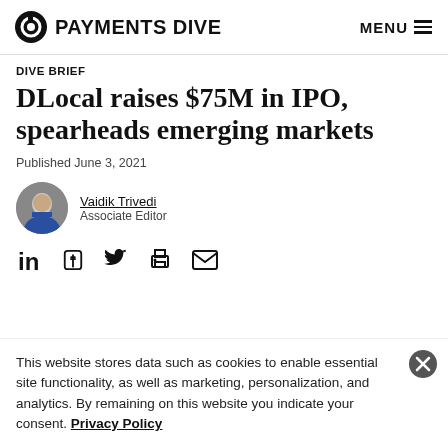PAYMENTS DIVE  MENU
DIVE BRIEF
DLocal raises $75M in IPO, spearheads emerging markets
Published June 3, 2021
Vaidik Trivedi
Associate Editor
[Figure (other): Social share icons: LinkedIn, Facebook, Twitter, Print, Email]
This website stores data such as cookies to enable essential site functionality, as well as marketing, personalization, and analytics. By remaining on this website you indicate your consent. Privacy Policy